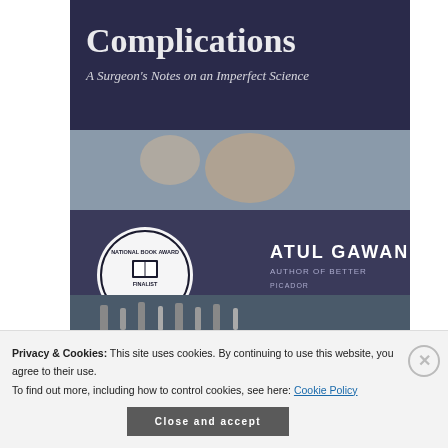[Figure (photo): Book cover of 'Complications: A Surgeon's Notes on an Imperfect Science' by Atul Gawande, showing National Book Award Finalist seal, surgical imagery, author name, and title.]
Better: A Surgeon's Notes on Performance
The next step for me this is an excerpt from
Privacy & Cookies: This site uses cookies. By continuing to use this website, you agree to their use. To find out more, including how to control cookies, see here: Cookie Policy
Close and accept